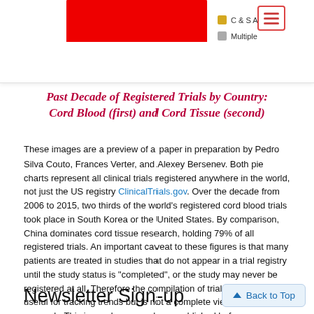[Figure (pie-chart): Partial view of a pie chart showing registered trials by country — large red segment visible at top, with legend entries for 'C & S Americas' (yellow/orange) and 'Multiple' (gray).]
Past Decade of Registered Trials by Country: Cord Blood (first) and Cord Tissue (second)
These images are a preview of a paper in preparation by Pedro Silva Couto, Frances Verter, and Alexey Bersenev. Both pie charts represent all clinical trials registered anywhere in the world, not just the US registry ClinicalTrials.gov. Over the decade from 2006 to 2015, two thirds of the world's registered cord blood trials took place in South Korea or the United States. By comparison, China dominates cord tissue research, holding 79% of all registered trials. An important caveat to these figures is that many patients are treated in studies that do not appear in a trial registry until the study status is "completed", or the study may never be registered at all. Therefore the compilation of trials databases is useful for tracking trends but is not a complete view of current research. This image has never been published before.
Newsletter Sign-up